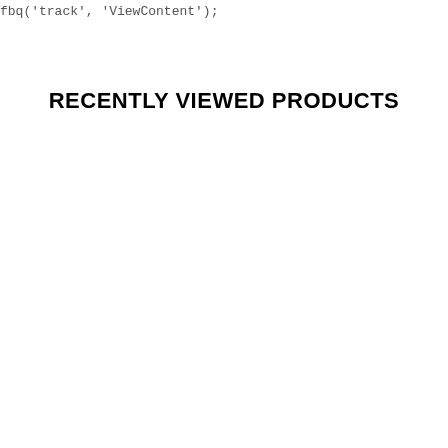fbq('track', 'ViewContent');
RECENTLY VIEWED PRODUCTS